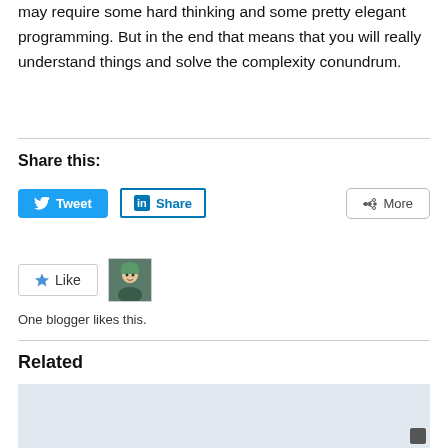may require some hard thinking and some pretty elegant programming. But in the end that means that you will really understand things and solve the complexity conundrum.
Share this:
[Figure (screenshot): Tweet button (blue), LinkedIn Share button (outlined), and More button with share icon]
[Figure (screenshot): Like button with star icon and blogger avatar image]
One blogger likes this.
Related
[Figure (screenshot): Related article thumbnail image with light blue-gray background]